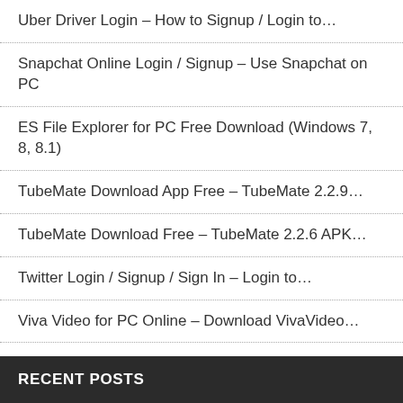Uber Driver Login – How to Signup / Login to…
Snapchat Online Login / Signup – Use Snapchat on PC
ES File Explorer for PC Free Download (Windows 7, 8, 8.1)
TubeMate Download App Free – TubeMate 2.2.9…
TubeMate Download Free – TubeMate 2.2.6 APK…
Twitter Login / Signup / Sign In – Login to…
Viva Video for PC Online – Download VivaVideo…
ShowBox 4.68 APK for Android Online – Show Box…
Clash Royale for PC Free Download (Windows 7, 8, 8.1)
RECENT POSTS